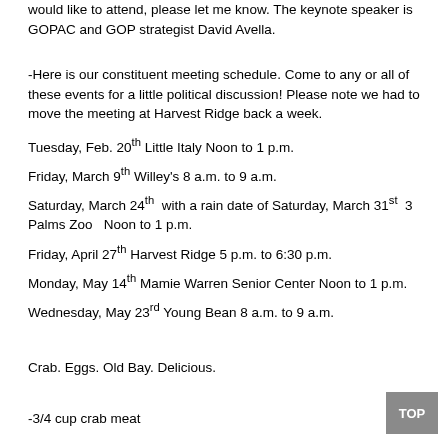would like to attend, please let me know. The keynote speaker is GOPAC and GOP strategist David Avella.
-Here is our constituent meeting schedule. Come to any or all of these events for a little political discussion! Please note we had to move the meeting at Harvest Ridge back a week.
Tuesday, Feb. 20th Little Italy Noon to 1 p.m.
Friday, March 9th Willey's 8 a.m. to 9 a.m.
Saturday, March 24th  with a rain date of Saturday, March 31st  3 Palms Zoo   Noon to 1 p.m.
Friday, April 27th Harvest Ridge 5 p.m. to 6:30 p.m.
Monday, May 14th Mamie Warren Senior Center Noon to 1 p.m.
Wednesday, May 23rd Young Bean 8 a.m. to 9 a.m.
Crab. Eggs. Old Bay. Delicious.
-3/4 cup crab meat